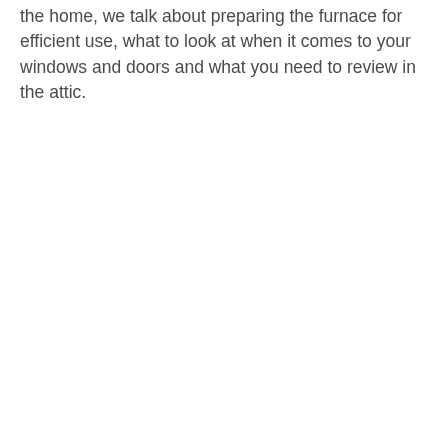the home, we talk about preparing the furnace for efficient use, what to look at when it comes to your windows and doors and what you need to review in the attic.